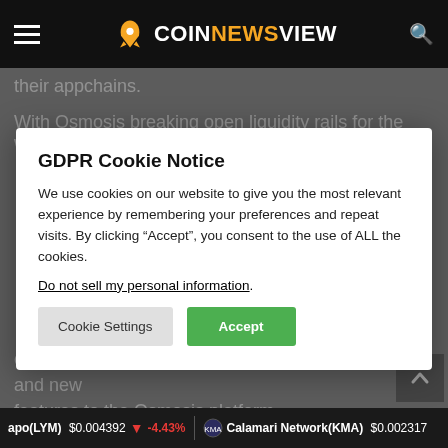COINNEWSVIEW
their appchains.
With Osmosis breaking open liquidity rails for the whole
GDPR Cookie Notice
We use cookies on our website to give you the most relevant experience by remembering your preferences and repeat visits. By clicking “Accept”, you consent to the use of ALL the cookies.
Do not sell my personal information.
Cookie Settings   Accept
ecosystem and build complementary products and new features to the Osmosis platform.
apo(LYM) $0.004392 -4.43%   Calamari Network(KMA) $0.002317